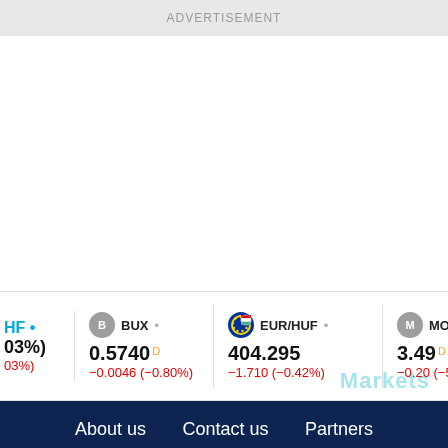ADVERTISEMENT
[Figure (screenshot): Financial ticker bar showing BUX (0.5740 D, -0.0046 (-0.80%)), EUR/HUF (404.295, -1.710 (-0.42%)), MOL (3.49 D, -0.20 (-5.55%)) with Markets watermark]
About us   Contact us   Partners
This website uses cookies to ensure you get the best experience on our website.
Learn more
Decline
Allow cookies